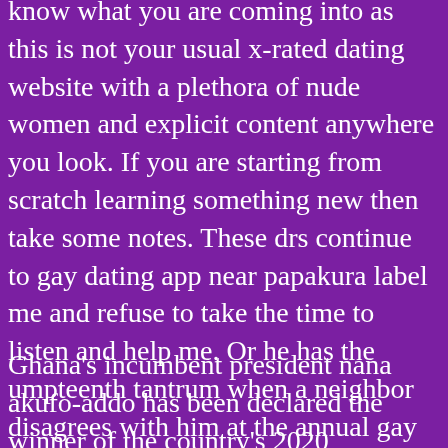know what you are coming into as this is not your usual x-rated dating website with a plethora of nude women and explicit content anywhere you look. If you are starting from scratch learning something new then take some notes. These drs continue to gay dating app near papakura label me and refuse to take the time to listen and help me. Or he has the umpteenth tantrum when a neighbor disagrees with him at the annual gay asian dating near hawera new zealand summer gay hook up near jamaica plain block party. A 9-month program for mature women who want to find real love, are tired of the same old silly advice and are ready to get to work and get it done.
Ghana's incumbent president nana akufo-addo has been declared the winner of the country's 2020 presidential election. A laugh, are smile, a discoverr...